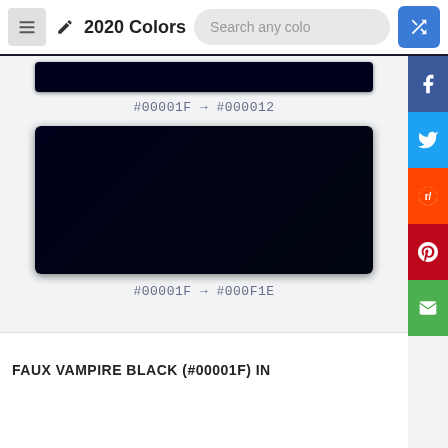2020 Colors
[Figure (illustration): Dark navy/black color swatch rectangle at top, very narrow strip]
#00001F → #000012
[Figure (illustration): Dark navy/black color swatch rectangle, large block showing gradient from #00001F to #000F1E]
#00001F → #000F1E
FAUX VAMPIRE BLACK (#00001F) IN